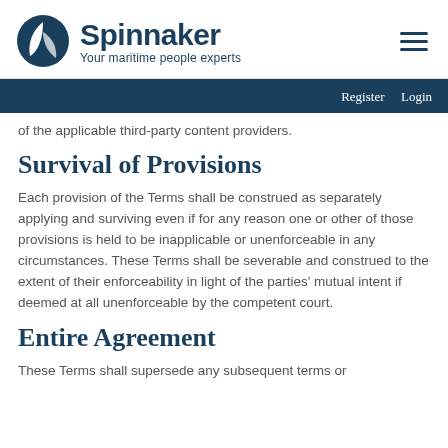Spinnaker — Your maritime people experts
of the applicable third-party content providers.
Survival of Provisions
Each provision of the Terms shall be construed as separately applying and surviving even if for any reason one or other of those provisions is held to be inapplicable or unenforceable in any circumstances. These Terms shall be severable and construed to the extent of their enforceability in light of the parties' mutual intent if deemed at all unenforceable by the competent court.
Entire Agreement
These Terms shall supersede any subsequent terms or